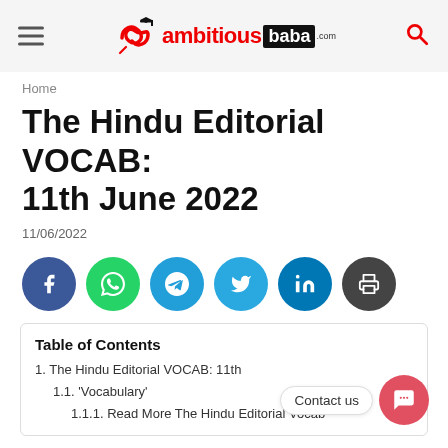ambitious baba
Home
The Hindu Editorial VOCAB: 11th June 2022
11/06/2022
[Figure (infographic): Social share buttons: Facebook, WhatsApp, Telegram, Twitter, LinkedIn, Print]
Table of Contents
1. The Hindu Editorial VOCAB: 11th
1.1. 'Vocabulary'
1.1.1. Read More The Hindu Editorial Vocab